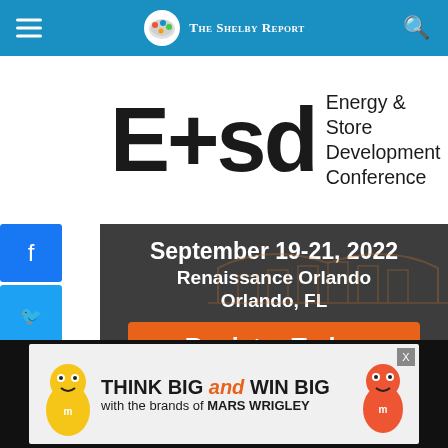The Shelby Report
[Figure (logo): E+sd Energy & Store Development Conference logo]
[Figure (infographic): Conference ad card: September 19-21, 2022, Renaissance Orlando, Orlando, FL, Register Today, Covering]
[Figure (infographic): Mars Wrigley ad banner: THINK BIG and WIN BIG with the brands of MARS WRIGLEY]